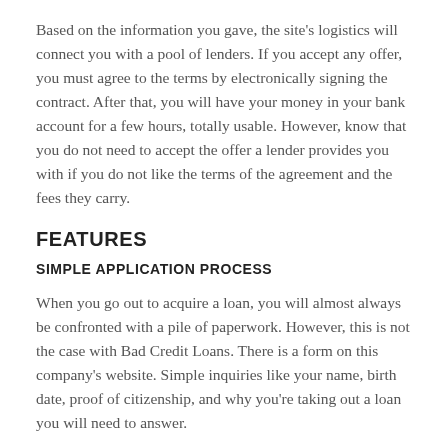Based on the information you gave, the site's logistics will connect you with a pool of lenders. If you accept any offer, you must agree to the terms by electronically signing the contract. After that, you will have your money in your bank account for a few hours, totally usable. However, know that you do not need to accept the offer a lender provides you with if you do not like the terms of the agreement and the fees they carry.
FEATURES
SIMPLE APPLICATION PROCESS
When you go out to acquire a loan, you will almost always be confronted with a pile of paperwork. However, this is not the case with Bad Credit Loans. There is a form on this company's website. Simple inquiries like your name, birth date, proof of citizenship, and why you're taking out a loan you will need to answer.